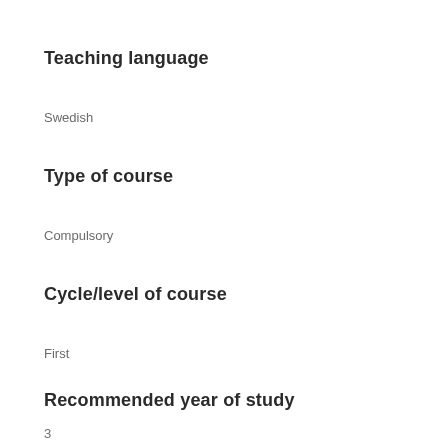Teaching language
Swedish
Type of course
Compulsory
Cycle/level of course
First
Recommended year of study
3